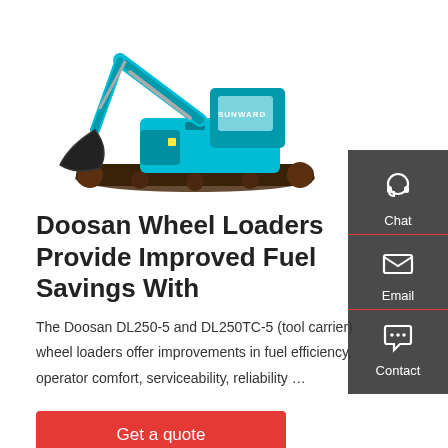[Figure (photo): Sunward excavator (teal/turquoise color) shown in profile view on white background]
[Figure (infographic): Gray sidebar with Chat (headset icon), Email (envelope icon), and Contact (speech bubble icon) buttons separated by red dividers]
Doosan Wheel Loaders Provide Improved Fuel Savings With
The Doosan DL250-5 and DL250TC-5 (tool carrier) wheel loaders offer improvements in fuel efficiency, operator comfort, serviceability, reliability …
Get a quote